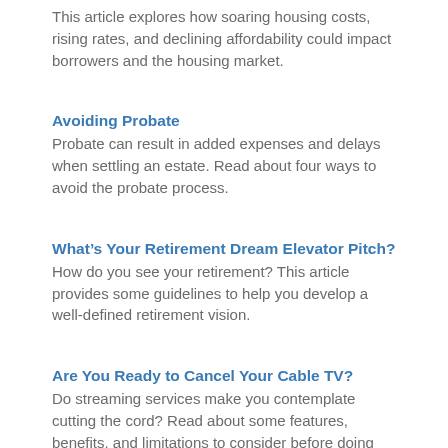This article explores how soaring housing costs, rising rates, and declining affordability could impact borrowers and the housing market.
Avoiding Probate
Probate can result in added expenses and delays when settling an estate. Read about four ways to avoid the probate process.
What’s Your Retirement Dream Elevator Pitch?
How do you see your retirement? This article provides some guidelines to help you develop a well-defined retirement vision.
Are You Ready to Cancel Your Cable TV?
Do streaming services make you contemplate cutting the cord? Read about some features, benefits, and limitations to consider before doing so.
Where to Look for Lost and Forgotten Money